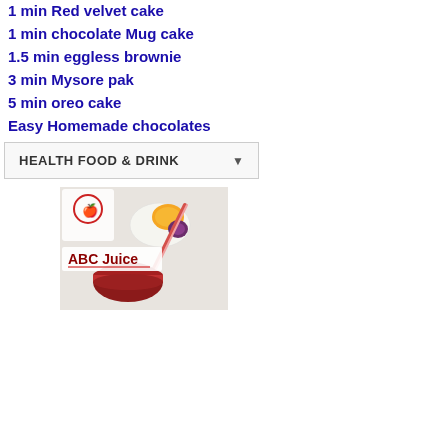1 min Red velvet cake
1 min chocolate Mug cake
1.5 min eggless brownie
3 min Mysore pak
5 min oreo cake
Easy Homemade chocolates
HEALTH FOOD & DRINK
[Figure (photo): ABC Juice - image showing juice bowls with apple, beetroot, carrot and a glass of red juice with a straw, labeled ABC Juice]